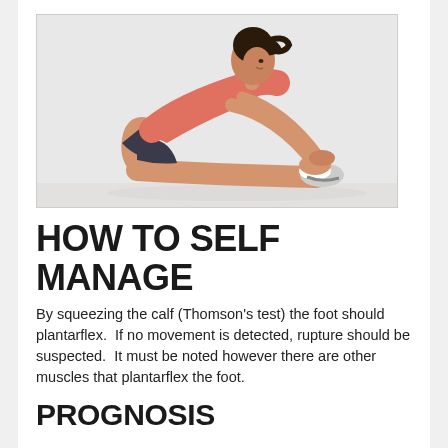[Figure (photo): Woman in athletic wear (pink top, dark shorts) sitting on floor performing a seated forward stretch/toe touch, reaching toward her sneakers]
HOW TO SELF MANAGE
By squeezing the calf (Thomson's test) the foot should plantarflex.  If no movement is detected, rupture should be suspected.  It must be noted however there are other muscles that plantarflex the foot.
PROGNOSIS
...